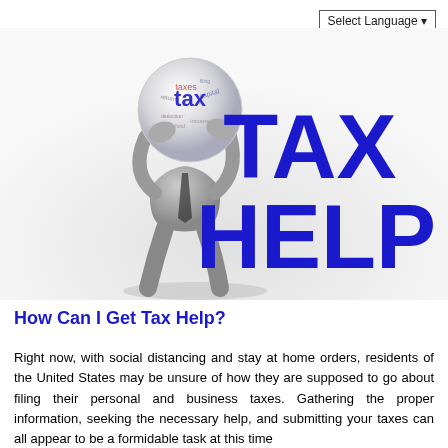Select Language
[Figure (illustration): A 3D figure of a person holding their head in their hands (overwhelmed posture), with a sphere for a head covered in tax-related words (tax, taxes, capital, etc.). Behind the figure are large blue bold 3D letters spelling 'TAX HELP'.]
How Can I Get Tax Help?
Right now, with social distancing and stay at home orders, residents of the United States may be unsure of how they are supposed to go about filing their personal and business taxes. Gathering the proper information, seeking the necessary help, and submitting your taxes can all appear to be a formidable task at this time...